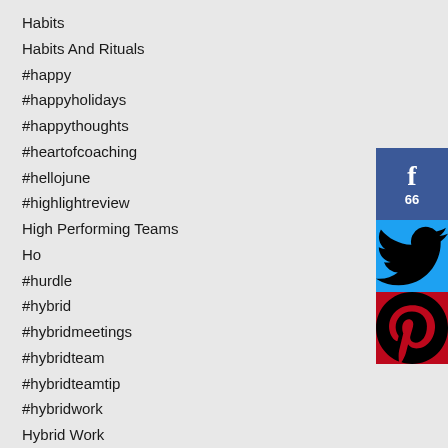Habits
Habits And Rituals
#happy
#happyholidays
#happythoughts
#heartofcoaching
#hellojune
#highlightreview
High Performing Teams
Ho
#hurdle
#hybrid
#hybridmeetings
#hybridteam
#hybridteamtip
#hybridwork
Hybrid Work
#hybridworkenvironment
#hybridworkprinciple